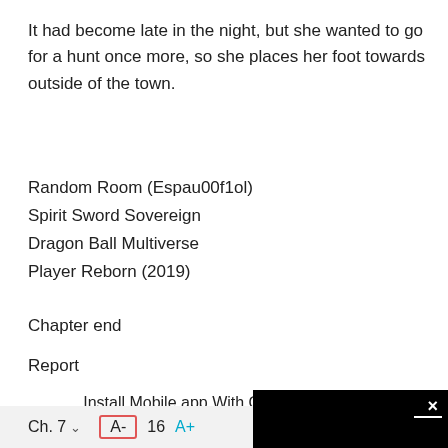It had become late in the night, but she wanted to go for a hunt once more, so she places her foot towards outside of the town.
Random Room (Espau00f1ol)
Spirit Sword Sovereign
Dragon Ball Multiverse
Player Reborn (2019)
Chapter end
Report
Install Mobile app With Offline Browsing
Click Donate For More
Next Chapter(s) on Patreon
[Figure (screenshot): Black popup overlay with X close button, white horizontal line, and a grey circle in the center]
Ch. 7 ∨ A- 16 A+